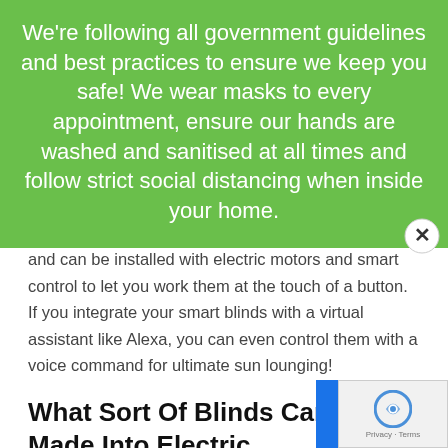We're following all government guidelines and best practices to ensure we keep you safe! We wear masks to every appointment, ensure our hands are washed and sanitised at all times and follow strict social distancing when inside your home.
coverage and fit than off-the-shelf blinds are likely to, and can be installed with electric motors and smart control to let you work them at the touch of a button. If you integrate your smart blinds with a virtual assistant like Alexa, you can even control them with a voice command for ultimate sun lounging!
What Sort Of Blinds Can Be Made Into Electric Conservatory Blinds?
Almost any blinds can be made into electric blinds, and our conservatory range includes a wide variety to choose from…